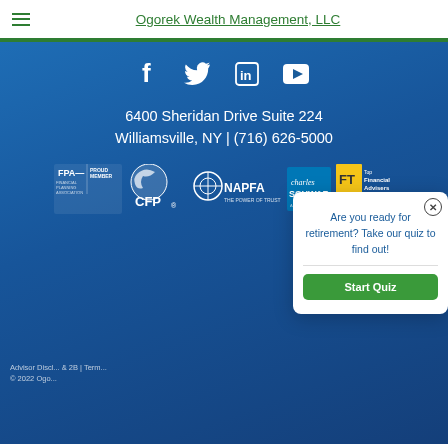Ogorek Wealth Management, LLC
6400 Sheridan Drive Suite 224
Williamsville, NY | (716) 626-5000
[Figure (logo): FPA Proud Member, CFP, NAPFA, Charles Schwab, FT Top Financial Advisers 2016 logos]
Advisor Discl... & 2B | Term... © 2022 Ogo...
Are you ready for retirement? Take our quiz to find out!
Start Quiz